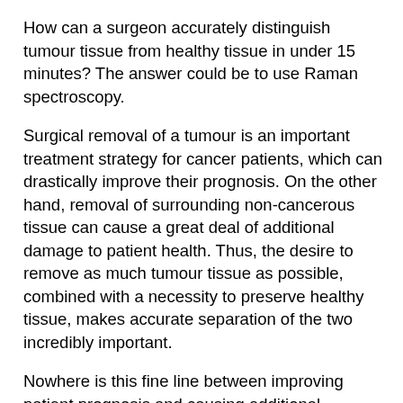How can a surgeon accurately distinguish tumour tissue from healthy tissue in under 15 minutes? The answer could be to use Raman spectroscopy.
Surgical removal of a tumour is an important treatment strategy for cancer patients, which can drastically improve their prognosis. On the other hand, removal of surrounding non-cancerous tissue can cause a great deal of additional damage to patient health. Thus, the desire to remove as much tumour tissue as possible, combined with a necessity to preserve healthy tissue, makes accurate separation of the two incredibly important.
Nowhere is this fine line between improving patient prognosis and causing additional damage more evident than in surgical neuro-oncology, where removal of functional brain tissue can cause permanent disability. To complicate matters further, a definitive boundary between tumour and healthy tissue rarely exists as cancer cells can break away from the main tumour and infiltrate surrounding non-cancerous tissue. Surgeons are